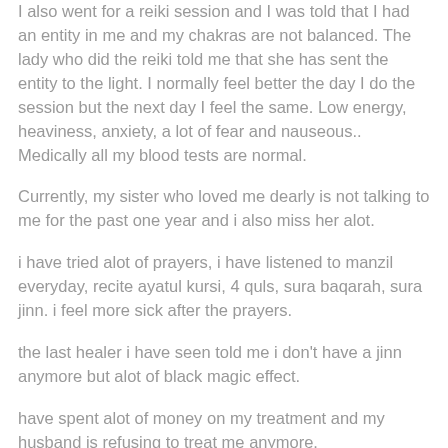I also went for a reiki session and I was told that I had an entity in me and my chakras are not balanced. The lady who did the reiki told me that she has sent the entity to the light. I normally feel better the day I do the session but the next day I feel the same. Low energy, heaviness, anxiety, a lot of fear and nauseous.. Medically all my blood tests are normal.
Currently, my sister who loved me dearly is not talking to me for the past one year and i also miss her alot.
i have tried alot of prayers, i have listened to manzil everyday, recite ayatul kursi, 4 quls, sura baqarah, sura jinn. i feel more sick after the prayers.
the last healer i have seen told me i don't have a jinn anymore but alot of black magic effect.
have spent alot of money on my treatment and my husband is refusing to treat me anymore.
could ou please advise me what i should do. is there any particular prayers i need to recite to cure me.